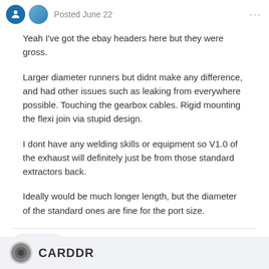Posted June 22
Yeah I've got the ebay headers here but they were gross.
Larger diameter runners but didnt make any difference, and had other issues such as leaking from everywhere possible. Touching the gearbox cables. Rigid mounting the flexi join via stupid design.
I dont have any welding skills or equipment so V1.0 of the exhaust will definitely just be from those standard extractors back.
Ideally would be much longer length, but the diameter of the standard ones are fine for the port size.
CARDDR